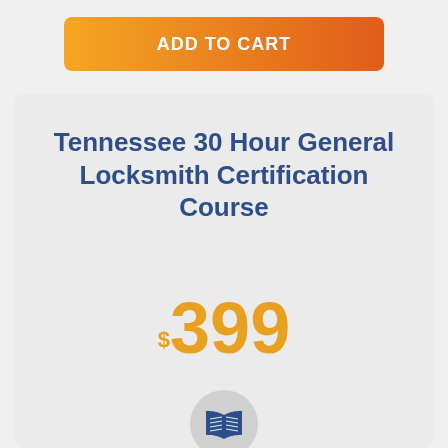ADD TO CART
Tennessee 30 Hour General Locksmith Certification Course
$399
[Figure (illustration): Book icon in a circular gray badge]
Certification Hours: 30